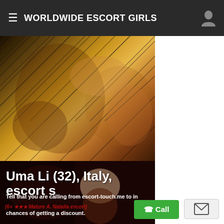WORLDWIDE ESCORT GIRLS
[Figure (photo): Close-up photo of woman in black fishnet lingerie against golden background]
[Figure (photo): Photo of blonde woman escort against dark red/brown background with overlaid text]
Uma Li (32), Italy, escort s
Tell that you are calling from escort-touch.me to in
chances of getting a discount.